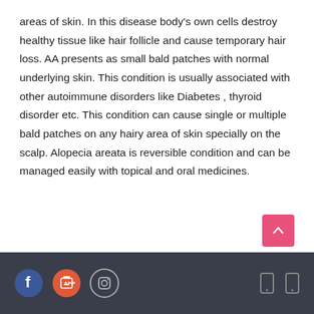areas of skin. In this disease body's own cells destroy healthy tissue like hair follicle and cause temporary hair loss. AA presents as small bald patches with normal underlying skin. This condition is usually associated with other autoimmune disorders like Diabetes , thyroid disorder etc. This condition can cause single or multiple bald patches on any hairy area of skin specially on the scalp. Alopecia areata is reversible condition and can be managed easily with topical and oral medicines.
Social media icons: Facebook, Google Play, Instagram